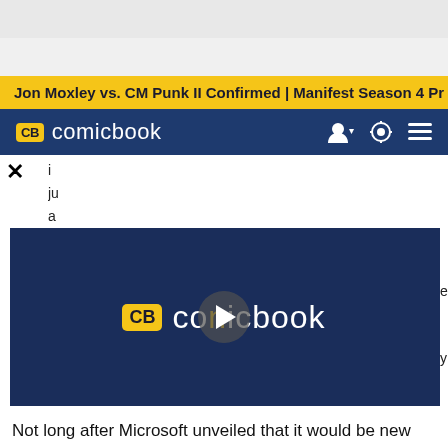Jon Moxley vs. CM Punk II Confirmed | Manifest Season 4 Pr
[Figure (logo): ComicBook.com navigation bar with CB logo in yellow badge, site name in white text, user icon, theme toggle, and hamburger menu on dark navy background]
[Figure (screenshot): ComicBook.com video player with dark navy background showing CB comicbook logo with play button overlay]
Not long after Microsoft unveiled that it would be new September 2022 additions to Xbox Games with Gold, social